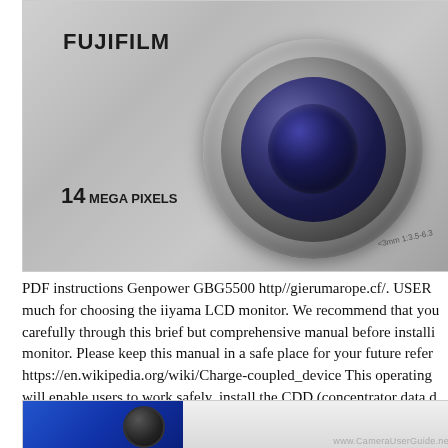[Figure (photo): Close-up photo of a silver Fujifilm compact digital camera showing the lens, with '14 MEGA PIXELS' text on the body and lens spec markings '3mm 1:3.5-6.3' visible on the lens ring.]
PDF instructions Genpower GBG5500 http//gierumarope.cf/. USER much for choosing the iiyama LCD monitor. We recommend that you carefully through this brief but comprehensive manual before installi monitor. Please keep this manual in a safe place for your future refer https://en.wikipedia.org/wiki/Charge-coupled_device This operating will enable users to work safely, install the CDD (concentrator data d operations necessary for keeping the equipment in good working ord.
[Figure (photo): Bottom portion of a blue compact camera with a small lens visible, with www.CameraUserGuide.net watermark in the bottom right corner.]